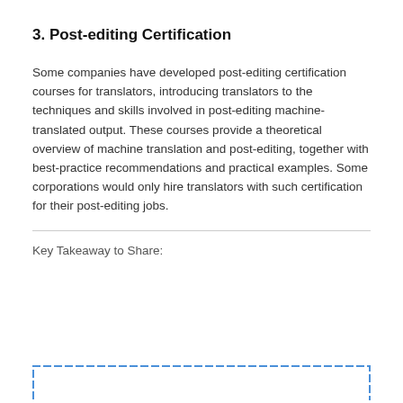3. Post-editing Certification
Some companies have developed post-editing certification courses for translators, introducing translators to the techniques and skills involved in post-editing machine-translated output. These courses provide a theoretical overview of machine translation and post-editing, together with best-practice recommendations and practical examples. Some corporations would only hire translators with such certification for their post-editing jobs.
Key Takeaway to Share:
[Figure (other): Dashed blue border box (top and sides visible, bottom cut off) for user input or highlight area]